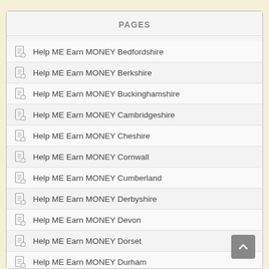PAGES
Help ME Earn MONEY Bedfordshire
Help ME Earn MONEY Berkshire
Help ME Earn MONEY Buckinghamshire
Help ME Earn MONEY Cambridgeshire
Help ME Earn MONEY Cheshire
Help ME Earn MONEY Cornwall
Help ME Earn MONEY Cumberland
Help ME Earn MONEY Derbyshire
Help ME Earn MONEY Devon
Help ME Earn MONEY Dorset
Help ME Earn MONEY Durham
Help ME Earn MONEY Essex